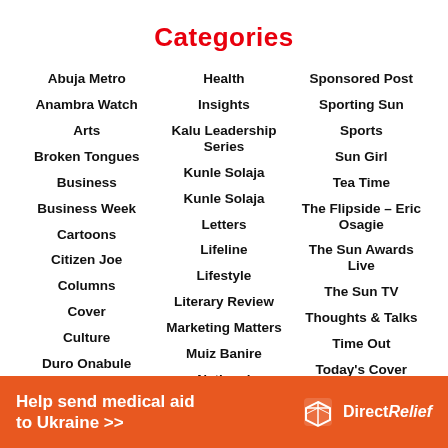Categories
Abuja Metro
Anambra Watch
Arts
Broken Tongues
Business
Business Week
Cartoons
Citizen Joe
Columns
Cover
Culture
Duro Onabule
Health
Insights
Kalu Leadership Series
Kunle Solaja
Kunle Solaja
Letters
Lifeline
Lifestyle
Literary Review
Marketing Matters
Muiz Banire
National
Sponsored Post
Sporting Sun
Sports
Sun Girl
Tea Time
The Flipside – Eric Osagie
The Sun Awards Live
The Sun TV
Thoughts & Talks
Time Out
Today's Cover
Help send medical aid to Ukraine >> Direct Relief